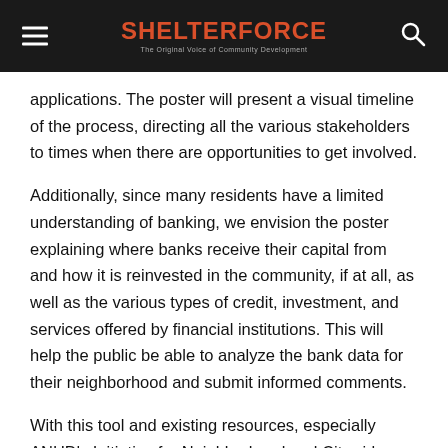SHELTERFORCE — The Original Voice of Community Development
applications. The poster will present a visual timeline of the process, directing all the various stakeholders to times when there are opportunities to get involved.
Additionally, since many residents have a limited understanding of banking, we envision the poster explaining where banks receive their capital from and how it is reinvested in the community, if at all, as well as the various types of credit, investment, and services offered by financial institutions. This will help the public be able to analyze the bank data for their neighborhood and submit informed comments.
With this tool and existing resources, especially ANHD's Initiative for Neighborhood and Citywide Organizing, we